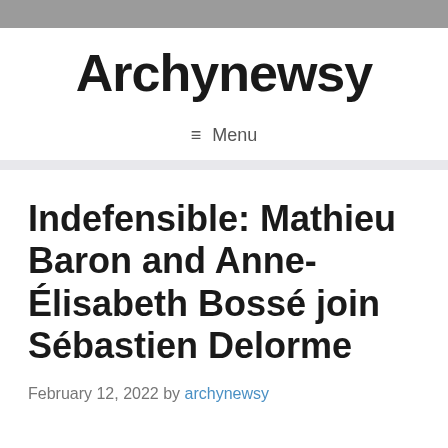Archynewsy
☰ Menu
Indefensible: Mathieu Baron and Anne-Élisabeth Bossé join Sébastien Delorme
February 12, 2022 by archynewsy